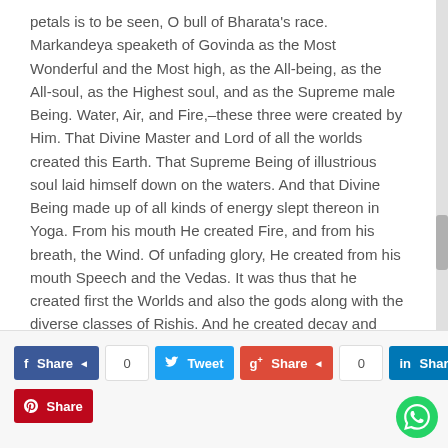petals is to be seen, O bull of Bharata's race. Markandeya speaketh of Govinda as the Most Wonderful and the Most high, as the All-being, as the All-soul, as the Highest soul, and as the Supreme male Being. Water, Air, and Fire,–these three were created by Him. That Divine Master and Lord of all the worlds created this Earth. That Supreme Being of illustrious soul laid himself down on the waters. And that Divine Being made up of all kinds of energy slept thereon in Yoga. From his mouth He created Fire, and from his breath, the Wind. Of unfading glory, He created from his mouth Speech and the Vedas. It was thus that he created first the Worlds and also the gods along with the diverse classes of Rishis. And he created decay and death also of all creatures, as well as birth and growth. He is Righteousness and of righteous soul.
f Share 0 Tweet g+ Share 0 in Share Share